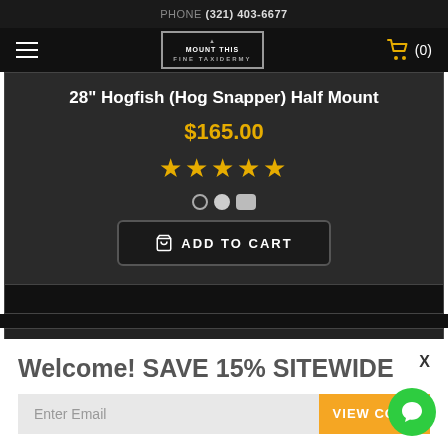PHONE (321) 403-6677
[Figure (logo): Mount This Fine Taxidermy logo in diamond shape with navigation bar including hamburger menu and shopping cart icon showing (0) items]
28" Hogfish (Hog Snapper) Half Mount
$165.00
[Figure (other): 5 gold star rating with image carousel dots below]
ADD TO CART
Welcome! SAVE 15% SITEWIDE
Enter Email | VIEW CODE